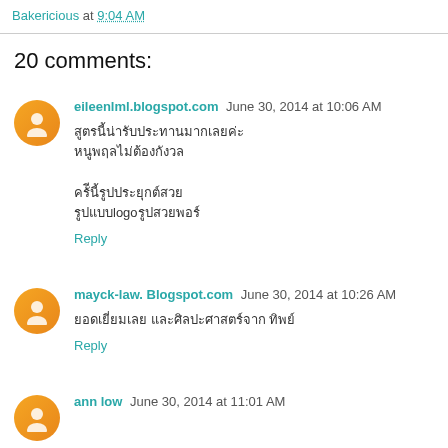Bakericious at 9:04 AM
20 comments:
eileenlml.blogspot.com  June 30, 2014 at 10:06 AM
[Thai text lines]

Reply
mayck-law. Blogspot.com  June 30, 2014 at 10:26 AM
[Thai text line]

Reply
ann low  June 30, 2014 at 11:01 AM